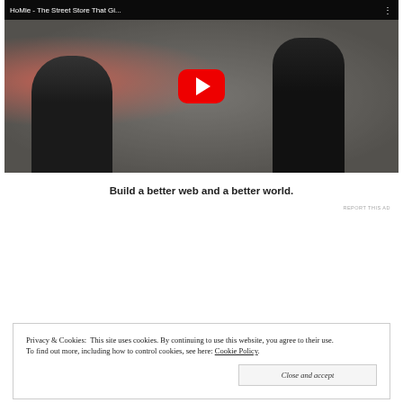[Figure (screenshot): YouTube video thumbnail showing two people in front of a white patterned wall, with red YouTube play button. Title bar reads: HoMie - The Street Store That Gi...]
Build a better web and a better world.
REPORT THIS AD
Privacy & Cookies:  This site uses cookies. By continuing to use this website, you agree to their use.
To find out more, including how to control cookies, see here: Cookie Policy
Close and accept